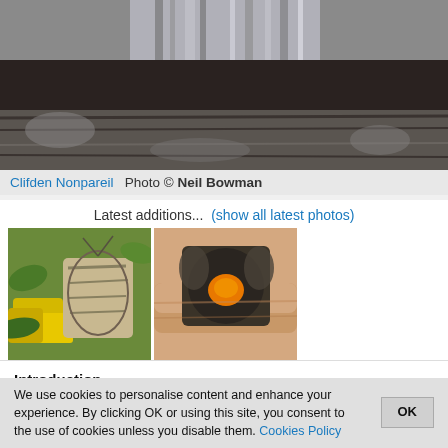[Figure (photo): Close-up of Clifden Nonpareil moth resting on bark, showing grey and dark wing pattern]
Clifden Nonpareil  Photo © Neil Bowman
Latest additions...  (show all latest photos)
[Figure (photo): Two latest addition moth photos side by side: left shows a moth on yellow gorse flowers, right shows a moth with orange marking being held by fingers]
Introduction
To date (March 2022) 1872 species of moth have been recorded in Norf since records began in the Victorian era (687 species of macro-moth a
We use cookies to personalise content and enhance your experience. By clicking OK or using this site, you consent to the use of cookies unless you disable them. Cookies Policy